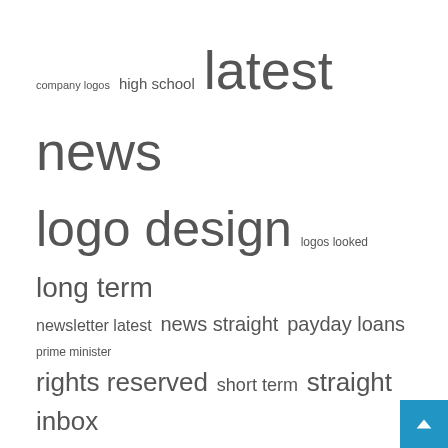[Figure (infographic): Tag cloud with terms: company logos, high school, latest news, logo design, logos looked, long term, newsletter latest, news straight, payday loans, prime minister, rights reserved, short term, straight inbox, united states, vice president — each sized by frequency/importance]
Recent Posts
MyHome Announces Rebranding, Unveils New Logo and Website
Why startups spend a lot on logo design
Japanese Prime Minister's Popularity Dips Over Party Ties to Unification Church | Japan